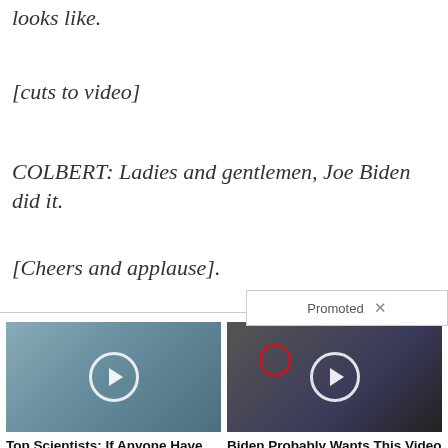looks like.
[cuts to video]
COLBERT: Ladies and gentlemen, Joe Biden did it.
[Cheers and applause].
[Figure (screenshot): Promoted content widget with two ad cards. Left card: video thumbnail of a woman holding a bottle with play button, titled 'Top Scientists: If Anyone Have Tinnitus (Ear Ringing) Do This Immediately', 140 engagements. Right card: video thumbnail of a group of men in suits with a red circle highlight and play button, titled 'Biden Probably Wants This Video Destroyed — US Dollar On Path Towards Replacement?', 614,930 engagements.]